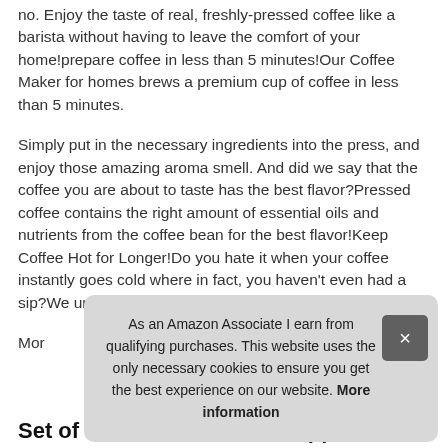no. Enjoy the taste of real, freshly-pressed coffee like a barista without having to leave the comfort of your home!prepare coffee in less than 5 minutes!Our Coffee Maker for homes brews a premium cup of coffee in less than 5 minutes.
Simply put in the necessary ingredients into the press, and enjoy those amazing aroma smell. And did we say that the coffee you are about to taste has the best flavor?Pressed coffee contains the right amount of essential oils and nutrients from the coffee bean for the best flavor!Keep Coffee Hot for Longer!Do you hate it when your coffee instantly goes cold where in fact, you haven't even had a sip?We understand the feeling.
Mor
As an Amazon Associate I earn from qualifying purchases. This website uses the only necessary cookies to ensure you get the best experience on our website. More information
Set of 2 Modern Salt and Pepper